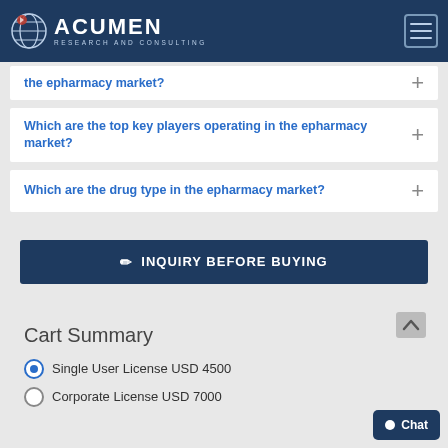Acumen Research and Consulting
the epharmacy market?
Which are the top key players operating in the epharmacy market?
Which are the drug type in the epharmacy market?
INQUIRY BEFORE BUYING
Cart Summary
Single User License USD 4500
Corporate License USD 7000